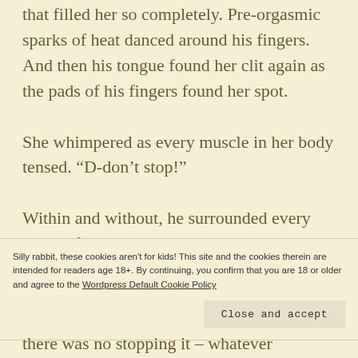that filled her so completely. Pre-orgasmic sparks of heat danced around his fingers. And then his tongue found her clit again as the pads of his fingers found her spot.
She whimpered as every muscle in her body tensed. “D-don’t stop!”
Within and without, he surrounded every nerve of her pleasure. She squeezed around him, chasing her
Silly rabbit, these cookies aren't for kids! This site and the cookies therein are intended for readers age 18+. By continuing, you confirm that you are 18 or older and agree to the Wordpress Default Cookie Policy
there was no stopping it – whatever